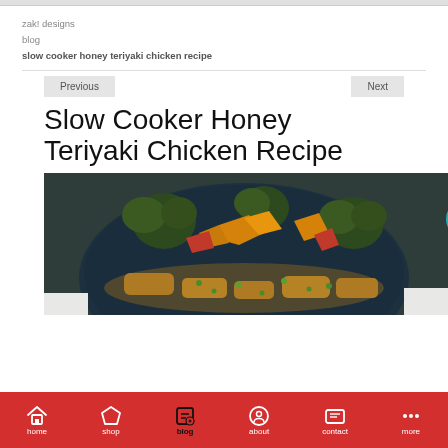zak! designs
blog
slow cooker honey teriyaki chicken recipe
Previous
Next
Slow Cooker Honey Teriyaki Chicken Recipe
[Figure (photo): Bowl of slow cooker honey teriyaki chicken with broccoli, colorful peppers, and green onions]
home  shop  blog  about  contact  more